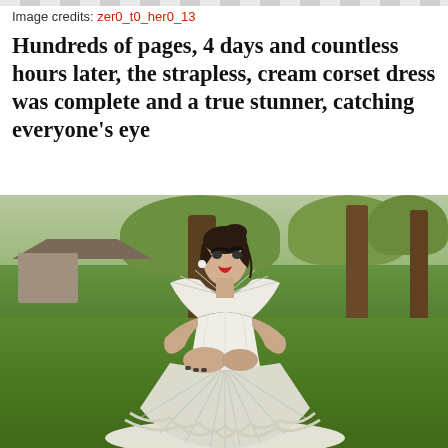Image credits: zer0_t0_her0_13
Hundreds of pages, 4 days and countless hours later, the strapless, cream corset dress was complete and a true stunner, catching everyone's eye
[Figure (photo): A young woman wearing a white strapless cream corset dress made of folded pages, standing on green grass in a park with trees in the background. She has dramatic makeup with bold eyebrows and red lipstick, dark hair in an updo.]